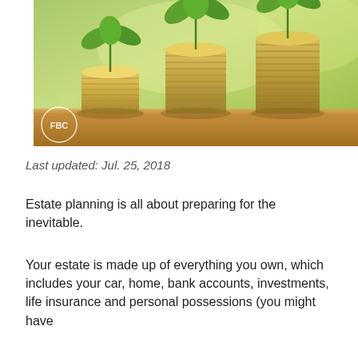[Figure (photo): Three stacks of coins in ascending height, each with a green plant seedling growing from the top, set against a blurred green outdoor background. An FBC logo watermark appears in the lower left corner.]
Last updated: Jul. 25, 2018
Estate planning is all about preparing for the inevitable.
Your estate is made up of everything you own, which includes your car, home, bank accounts, investments, life insurance and personal possessions (you might have